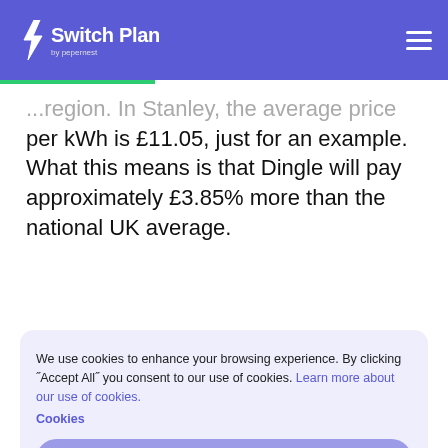Switch Plan by pepernest
...region. In Stanley, the average price per kWh is £11.05, just for an example. What this means is that Dingle will pay approximately £3.85% more than the national UK average.
We use cookies to enhance your browsing experience. By clicking ˝Accept All˝ you consent to our use of cookies. Learn more about our use of cookies.
Cookies
DECLINE
ACCEPT
We call you back